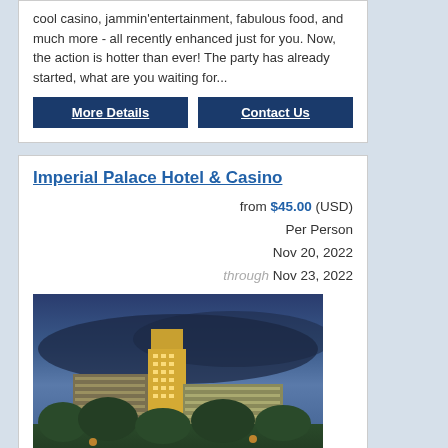cool casino, jammin'entertainment, fabulous food, and much more - all recently enhanced just for you. Now, the action is hotter than ever! The party has already started, what are you waiting for...
More Details | Contact Us
Imperial Palace Hotel & Casino
from $45.00 (USD) Per Person Nov 20, 2022 through Nov 23, 2022
[Figure (photo): Night/dusk exterior photo of the Imperial Palace Hotel & Casino showing a tall illuminated tower building with surrounding lower buildings, trees in foreground, and cloudy sky.]